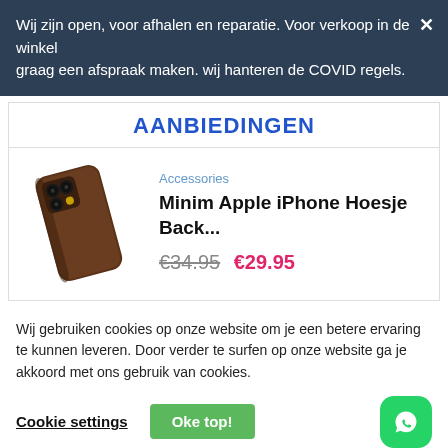Wij zijn open, voor afhalen en reparatie. Voor verkoop in de winkel graag een afspraak maken. wij hanteren de COVID regels.
AANBIEDINGEN
[Figure (photo): Brown leather iPhone back case, angled view showing camera cutout area]
Accessories
Minim Apple iPhone Hoesje Back...
€34.95  €29.95
Wij gebruiken cookies op onze website om je een betere ervaring te kunnen leveren. Door verder te surfen op onze website ga je akkoord met ons gebruik van cookies.
Cookie settings
Oke top!